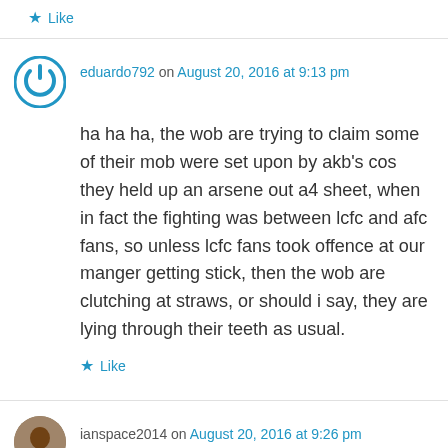★ Like
eduardo792 on August 20, 2016 at 9:13 pm
ha ha ha, the wob are trying to claim some of their mob were set upon by akb's cos they held up an arsene out a4 sheet, when in fact the fighting was between lcfc and afc fans, so unless lcfc fans took offence at our manger getting stick, then the wob are clutching at straws, or should i say, they are lying through their teeth as usual.
★ Like
ianspace2014 on August 20, 2016 at 9:26 pm